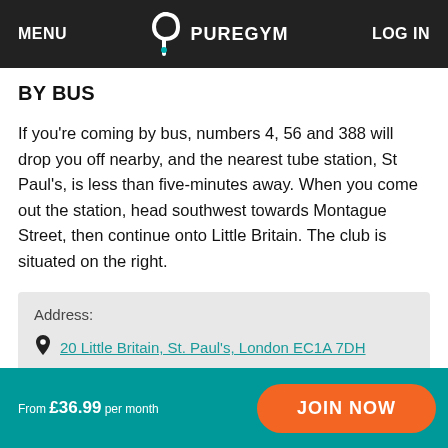MENU  PUREGYM  LOG IN
BY BUS
If you're coming by bus, numbers 4, 56 and 388 will drop you off nearby, and the nearest tube station, St Paul's, is less than five-minutes away. When you come out the station, head southwest towards Montague Street, then continue onto Little Britain. The club is situated on the right.
Address:
20 Little Britain, St. Paul's, London EC1A 7DH
From £36.99 per month  JOIN NOW